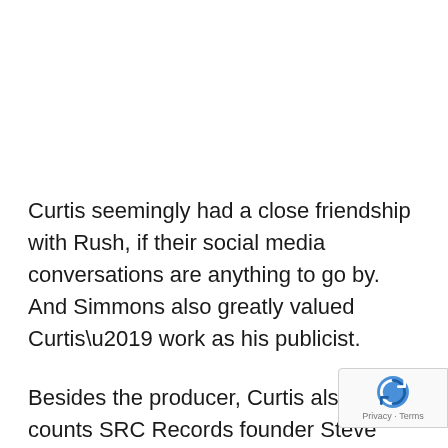Curtis seemingly had a close friendship with Rush, if their social media conversations are anything to go by. And Simmons also greatly valued Curtis’ work as his publicist.
Besides the producer, Curtis also counts SRC Records founder Steve Rifkind as a father figu… mentor.